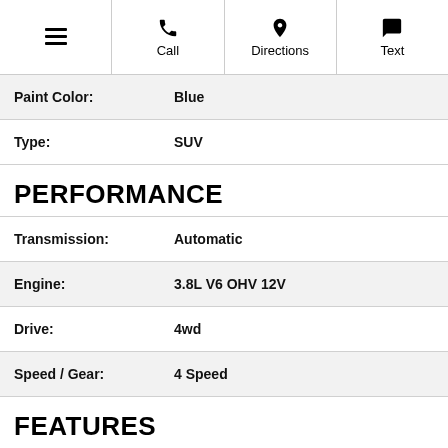Menu | Call | Directions | Text
| Property | Value |
| --- | --- |
| Paint Color: | Blue |
| Type: | SUV |
PERFORMANCE
| Property | Value |
| --- | --- |
| Transmission: | Automatic |
| Engine: | 3.8L V6 OHV 12V |
| Drive: | 4wd |
| Speed / Gear: | 4 Speed |
FEATURES
Vehicle Anti-Theft ✓